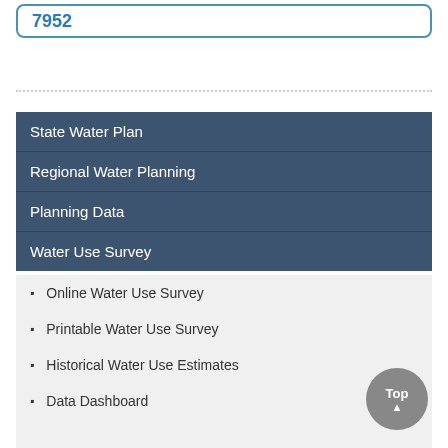7952
State Water Plan
Regional Water Planning
Planning Data
Water Use Survey
Online Water Use Survey
Printable Water Use Survey
Historical Water Use Estimates
Data Dashboard